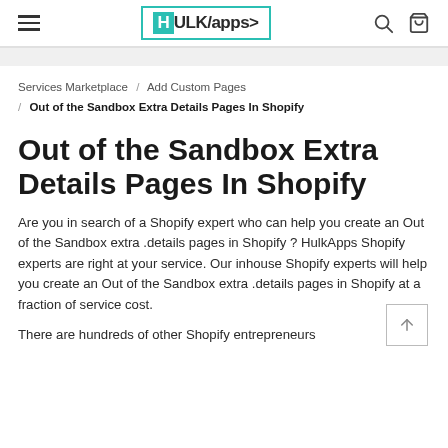HULKapps — navigation header with hamburger menu, logo, search and cart icons
Services Marketplace / Add Custom Pages / Out of the Sandbox Extra Details Pages In Shopify
Out of the Sandbox Extra Details Pages In Shopify
Are you in search of a Shopify expert who can help you create an Out of the Sandbox extra .details pages in Shopify ? HulkApps Shopify experts are right at your service. Our inhouse Shopify experts will help you create an Out of the Sandbox extra .details pages in Shopify at a fraction of service cost.
There are hundreds of other Shopify entrepreneurs